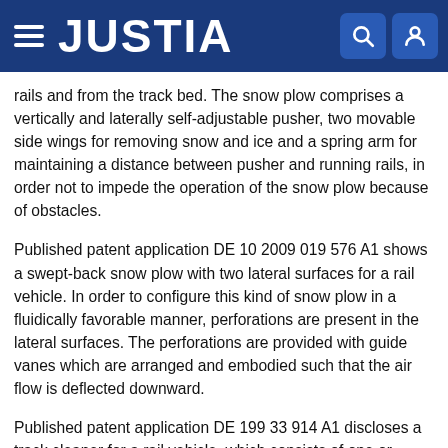JUSTIA
rails and from the track bed. The snow plow comprises a vertically and laterally self-adjustable pusher, two movable side wings for removing snow and ice and a spring arm for maintaining a distance between pusher and running rails, in order not to impede the operation of the snow plow because of obstacles.
Published patent application DE 10 2009 019 576 A1 shows a swept-back snow plow with two lateral surfaces for a rail vehicle. In order to configure this kind of snow plow in a fluidically favorable manner, perforations are present in the lateral surfaces. The perforations are provided with guide vanes which are arranged and embodied such that the air flow is deflected downward.
Published patent application DE 199 33 914 A1 discloses a track cleaner for a rail vehicle, which consists of one or